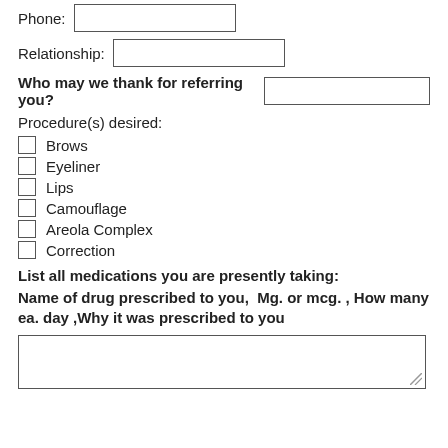Phone:
Relationship:
Who may we thank for referring you?
Procedure(s) desired:
Brows
Eyeliner
Lips
Camouflage
Areola Complex
Correction
List all medications you are presently taking:
Name of drug prescribed to you,  Mg. or mcg. , How many ea. day ,Why it was prescribed to you